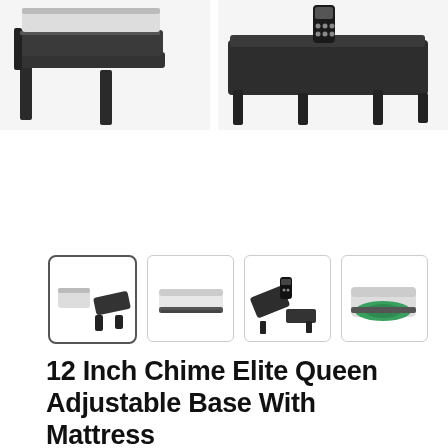[Figure (photo): Top portion of product page showing two partial product images: left shows a dark adjustable base frame corner, right shows a dark adjustable base with a remote control.]
[Figure (photo): Row of four product thumbnail images: 1) mattress and adjustable base together, 2) white mattress alone, 3) adjustable base elevated with remote, 4) mattress cross-section showing green foam layer.]
12 Inch Chime Elite Queen Adjustable Base With Mattress